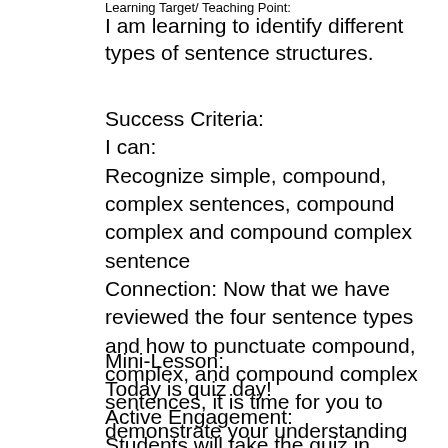Learning Target/ Teaching Point:
I am learning to identify different types of sentence structures.
Success Criteria:
I can:
Recognize simple, compound, complex sentences, compound complex and compound complex sentence
Connection: Now that we have reviewed the four sentence types and how to punctuate compound, complex, and compound complex sentences, it is time for you to demonstrate your understanding of this grammatical construction.
Mini-Lesson:
Today is quiz day!
Active Engagement:
Students will take the quiz in Google Classroom.